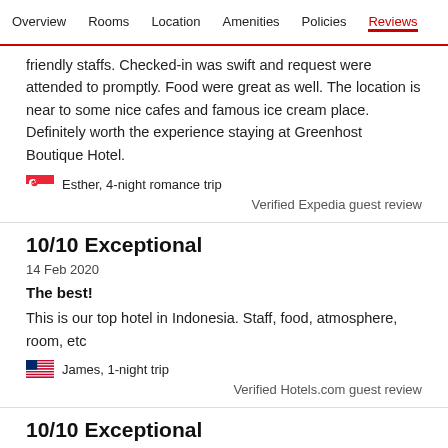Overview | Rooms | Location | Amenities | Policies | Reviews
friendly staffs. Checked-in was swift and request were attended to promptly. Food were great as well. The location is near to some nice cafes and famous ice cream place. Definitely worth the experience staying at Greenhost Boutique Hotel.
Esther, 4-night romance trip
Verified Expedia guest review
10/10 Exceptional
14 Feb 2020
The best!
This is our top hotel in Indonesia. Staff, food, atmosphere, room, etc
James, 1-night trip
Verified Hotels.com guest review
10/10 Exceptional
19 Dec 2019
awesome stay in jogia